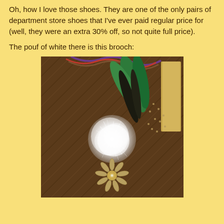Oh, how I love those shoes. They are one of the only pairs of department store shoes that I've ever paid regular price for (well, they were an extra 30% off, so not quite full price).
The pouf of white there is this brooch:
[Figure (photo): A close-up photo of a brooch on a brown striped fabric background. The brooch consists of a fluffy white feather pom-pom/marabou puff on top, with green feathers visible behind it and a metallic silver sun/edelweiss-shaped flower pendant below the white puff. The fabric underneath shows a herringbone or chevron woven pattern. Colorful braided ribbons (blue, red, brown) are visible at the top of the frame.]